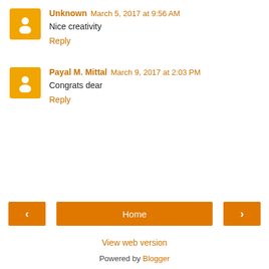Unknown March 5, 2017 at 9:56 AM
Nice creativity
Reply
Payal M. Mittal March 9, 2017 at 2:03 PM
Congrats dear
Reply
Home
View web version
Powered by Blogger